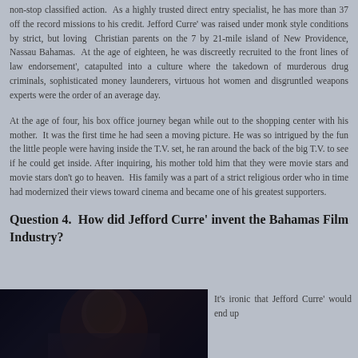non-stop classified action.  As a highly trusted direct entry specialist, he has more than 37 off the record missions to his credit. Jefford Curre' was raised under monk style conditions by strict, but loving  Christian parents on the 7 by 21-mile island of New Providence, Nassau Bahamas.  At the age of eighteen, he was discreetly recruited to the front lines of law endorsement', catapulted into a culture where the takedown of murderous drug criminals, sophisticated money launderers, virtuous hot women and disgruntled weapons experts were the order of an average day.
At the age of four, his box office journey began while out to the shopping center with his mother.  It was the first time he had seen a moving picture. He was so intrigued by the fun the little people were having inside the T.V. set, he ran around the back of the big T.V. to see if he could get inside. After inquiring, his mother told him that they were movie stars and movie stars don't go to heaven.  His family was a part of a strict religious order who in time had modernized their views toward cinema and became one of his greatest supporters.
Question 4.  How did Jefford Curre' invent the Bahamas Film Industry?
[Figure (photo): Dark photograph, appears to show a person in low light conditions]
It's ironic that Jefford Curre' would end up